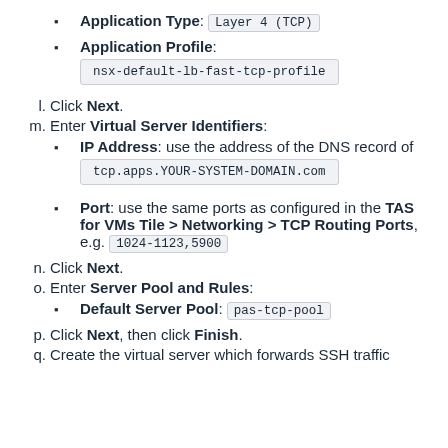Application Type: Layer 4 (TCP)
Application Profile: nsx-default-lb-fast-tcp-profile
l. Click Next.
m. Enter Virtual Server Identifiers:
IP Address: use the address of the DNS record of tcp.apps.YOUR-SYSTEM-DOMAIN.com
Port: use the same ports as configured in the TAS for VMs Tile > Networking > TCP Routing Ports, e.g. 1024-1123,5900
n. Click Next.
o. Enter Server Pool and Rules:
Default Server Pool: pas-tcp-pool
p. Click Next, then click Finish.
q. Create the virtual server which forwards SSH traffic